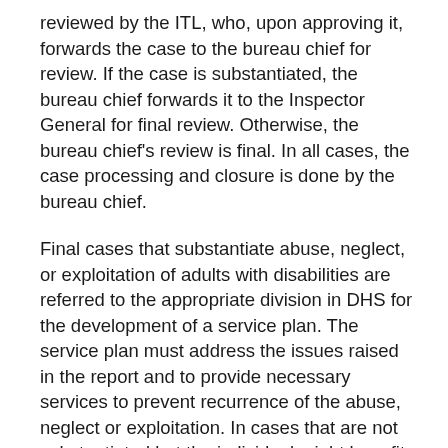reviewed by the ITL, who, upon approving it, forwards the case to the bureau chief for review. If the case is substantiated, the bureau chief forwards it to the Inspector General for final review. Otherwise, the bureau chief's review is final. In all cases, the case processing and closure is done by the bureau chief.
Final cases that substantiate abuse, neglect, or exploitation of adults with disabilities are referred to the appropriate division in DHS for the development of a service plan. The service plan must address the issues raised in the report and to provide necessary services to prevent recurrence of the abuse, neglect or exploitation. In cases that are not substantiated but the individual might benefit from services, the investigator may make phone referrals to entities that provide or assess for services.